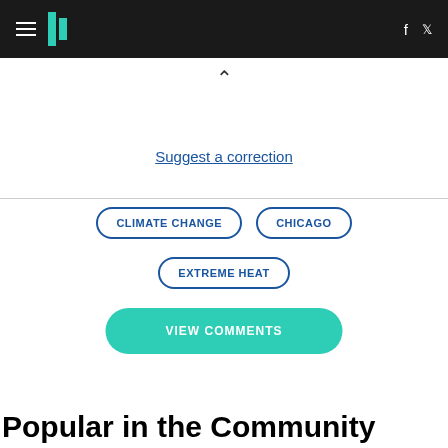HuffPost navigation bar with hamburger menu, logo, Facebook and Twitter icons
^
Suggest a correction
CLIMATE CHANGE
CHICAGO
EXTREME HEAT
VIEW COMMENTS
Popular in the Community